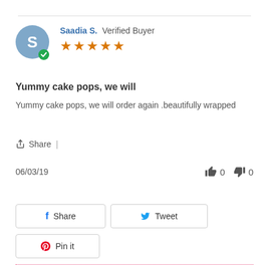Saadia S. Verified Buyer
★★★★★
Yummy cake pops, we will
Yummy cake pops, we will order again .beautifully wrapped
Share |
06/03/19   👍 0   👎 0
Share
Tweet
Pin it
Related Products